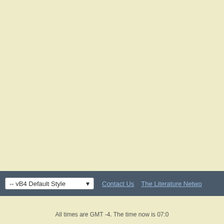[Figure (photo): Avatar image of Barmy user - dark photo]
Barmy
For sure... are hurt... guys! Yo... so many...
see me
7 replies | 1258 view(s)
[Figure (illustration): Avatar image of Bluebi user - illustrated dragon/creature artwork]
Bluebi
blog en Barmy
On Satu... needed... stumbl... dash co...
see me
7 replies | 1258 view(s)
-- vB4 Default Style   Contact Us  The Literature Netwo
All times are GMT -4. The time now is 07:0